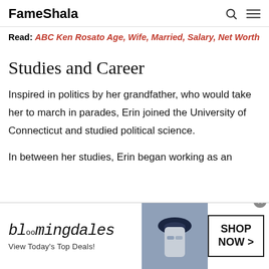FameShala
Read: ABC Ken Rosato Age, Wife, Married, Salary, Net Worth
Studies and Career
Inspired in politics by her grandfather, who would take her to march in parades, Erin joined the University of Connecticut and studied political science.
In between her studies, Erin began working as an
[Figure (photo): Bloomingdales advertisement banner with woman in hat, tagline 'View Today's Top Deals!' and 'SHOP NOW >' button]